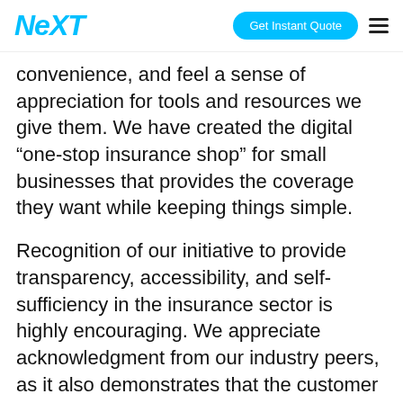NEXT | Get Instant Quote
convenience, and feel a sense of appreciation for tools and resources we give them. We have created the digital “one-stop insurance shop” for small businesses that provides the coverage they want while keeping things simple.
Recognition of our initiative to provide transparency, accessibility, and self-sufficiency in the insurance sector is highly encouraging. We appreciate acknowledgment from our industry peers, as it also demonstrates that the customer experience is enhanced by